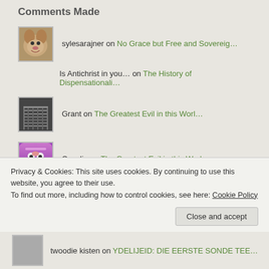Comments Made
sylesarajner on No Grace but Free and Sovereig…
Is Antichrist in you… on The History of Dispensationali…
Grant on The Greatest Evil in this Worl…
Cecelia on The Greatest Evil in this Worl…
Privacy & Cookies: This site uses cookies. By continuing to use this website, you agree to their use.
To find out more, including how to control cookies, see here: Cookie Policy
Close and accept
twoodie kisten on YDELIJEID: DIE EERSTE SONDE TEE…